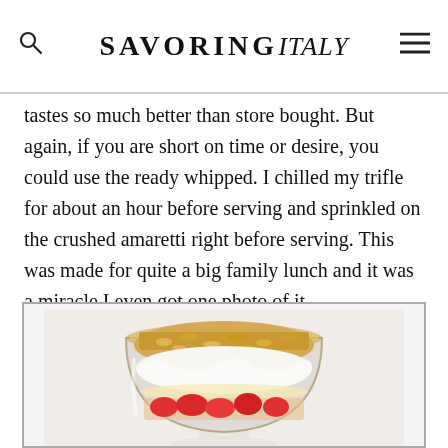SAVORING italy
tastes so much better than store bought. But again, if you are short on time or desire, you could use the ready whipped. I chilled my trifle for about an hour before serving and sprinkled on the crushed amaretti right before serving. This was made for quite a big family lunch and it was a miracle I even got one photo of it.
[Figure (photo): A glass trifle bowl on a white pedestal filled with layers of strawberries, custard/cream, and topped with crushed golden amaretti biscuits.]